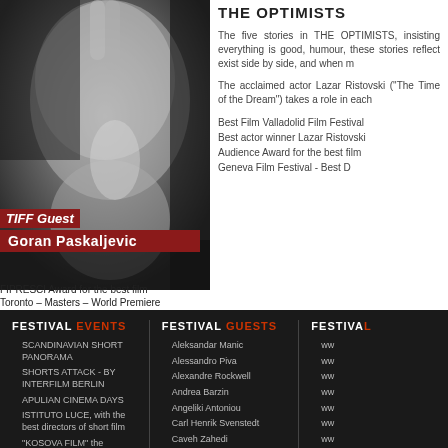[Figure (photo): Black and white close-up portrait photo of a man's face, with 'TIFF Guest' text overlay in dark red italic and 'Goran Paskaljevic' name banner in dark red below]
FIPRESCI Award for the best film
Toronto – Masters – World Premiere
THE OPTIMISTS
The five stories in THE OPT... insisting everything is good, humour, these stories reflect exist side by side, and when...
The acclaimed actor Lazar R... Dream") takes a role in each...
Best Film Valladolid Film Fes... Best actor winner Lazar Risto... Audience Award for the best... Geneva Film Festival - Best D...
FESTIVAL EVENTS
FESTIVAL GUESTS
FESTIVA...
SCANDINAVIAN SHORT PANORAMA
SHORTS ATTACK - BY INTERFILM BERLIN
APULIAN CINEMA DAYS
ISTITUTO LUCE, with the best directors of short film
"KOSOVA FILM" the retrospective of best...
Aleksandar Manic
Alessandro Piva
Alexandre Rockwell
Andrea Barzin
Angeliki Antoniou
Carl Henrik Svenstedt
Caveh Zahedi
Edoardo Winspeare
Fatmir Koci